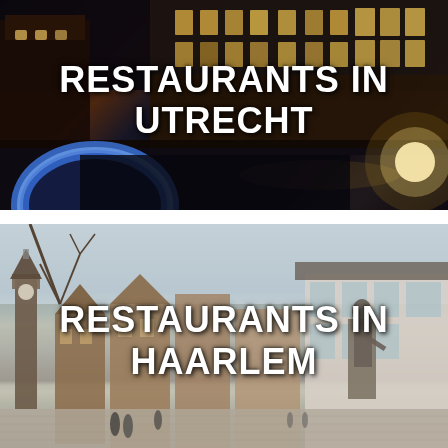[Figure (photo): Night photograph of Utrecht city center with historic canal-side buildings illuminated by warm lights and a blue glowing arch/tunnel in the foreground. White bold text overlay reads RESTAURANTS IN UTRECHT.]
[Figure (photo): Daytime photograph of Haarlem's Grote Markt (main square) with historic Dutch guild houses, a church tower on the left, and a prominent bronze statue of Laurens Janszoon Coster on the right. White bold text overlay reads RESTAURANTS IN HAARLEM.]